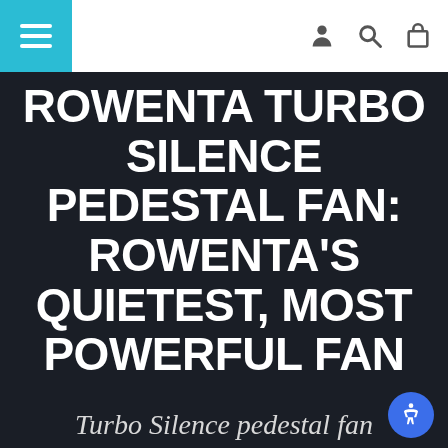Navigation bar with menu button (teal), account, search, and cart icons
ROWENTA TURBO SILENCE PEDESTAL FAN: ROWENTA'S QUIETEST, MOST POWERFUL FAN
Turbo Silence pedestal fan combines powerful airflow with silence control technology, for the quietest, most powerful fan, reaching as low as 43 dB(A) o…